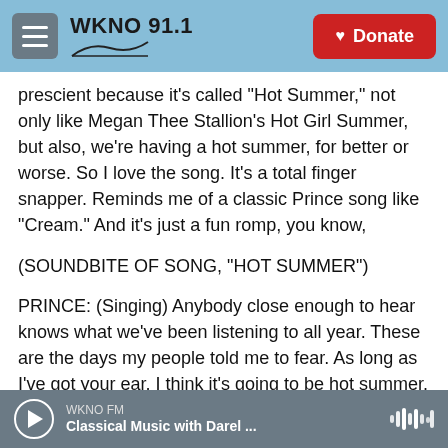WKNO 91.1
prescient because it's called "Hot Summer," not only like Megan Thee Stallion's Hot Girl Summer, but also, we're having a hot summer, for better or worse. So I love the song. It's a total finger snapper. Reminds me of a classic Prince song like "Cream." And it's just a fun romp, you know,
(SOUNDBITE OF SONG, "HOT SUMMER")
PRINCE: (Singing) Anybody close enough to hear knows what we've been listening to all year. These are the days my people told me to fear. As long as I've got your ear, I think it's going to be hot summer. Just wait and see.
WKNO FM — Classical Music with Darel ...